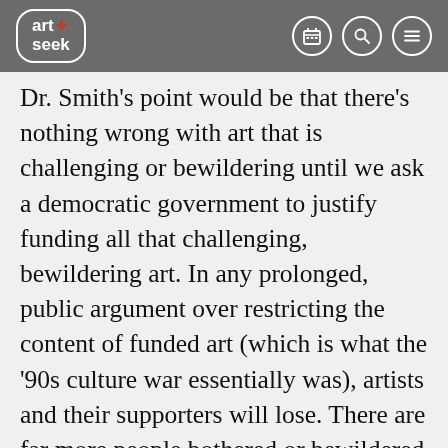art+seek [logo with calendar, search, menu icons]
Dr. Smith's point would be that there's nothing wrong with art that is challenging or bewildering until we ask a democratic government to justify funding all that challenging, bewildering art. In any prolonged, public argument over restricting the content of funded art (which is what the ’90s culture war essentially was), artists and their supporters will lose. There are far more people bothered or bewildered by their work (or uncaring of it) than there are admirers of it. Even with mass media and mass education — some might say because of them — the audience for challenging, difficult art work is still, relatively speaking,